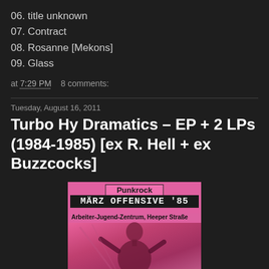06. title unknown
07. Contract
08. Rosanne [Mekons]
09. Glass
at 7:29 PM   8 comments:
Tuesday, August 16, 2011
Turbo Hy Dramatics – EP + 2 LPs (1984-1985) [ex R. Hell + ex Buzzcocks]
[Figure (photo): Pink punk rock concert poster: Punkrock März Offensive '85, Arbeiter-Jugend-Zentrum, Heeper Straße, Bielefeld. Features a photo of a person looking upward.]